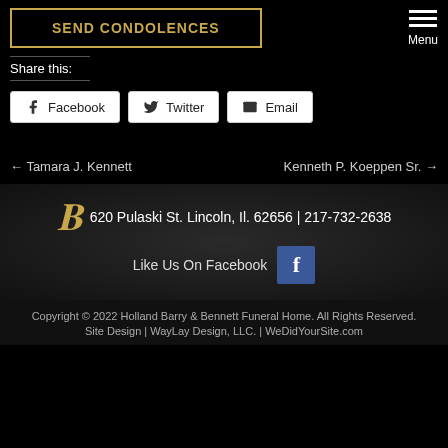SEND CONDOLENCES
Menu
Share this:
Facebook  Twitter  Email
← Tamara J. Kennett
Kenneth P. Koeppen Sr. →
620 Pulaski St. Lincoln, Il. 62656 | 217-732-2638
Like Us On Facebook
Copyright © 2022 Holland Barry & Bennett Funeral Home. All Rights Reserved.
Site Design | WayLay Design, LLC. | WeDidYourSite.com